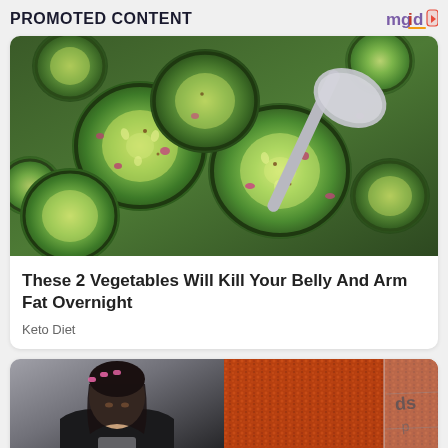PROMOTED CONTENT
[Figure (photo): Close-up photo of sliced cucumbers with red onions, spices, and a spoon — a marinated cucumber salad dish]
These 2 Vegetables Will Kill Your Belly And Arm Fat Overnight
Keto Diet
[Figure (photo): Left half: woman with pink hair rollers looking down wearing black jacket. Right half: orange-red spice powder in a metal tray with label 'dsp']